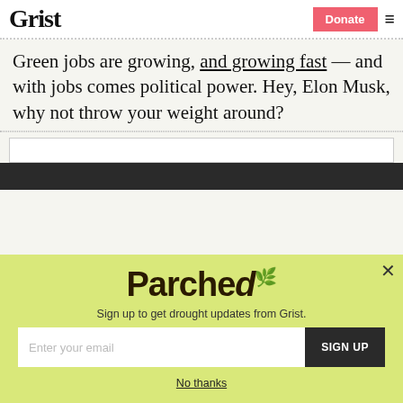Grist | Donate
Green jobs are growing, and growing fast — and with jobs comes political power. Hey, Elon Musk, why not throw your weight around?
[Figure (screenshot): Parched newsletter signup modal overlay with yellow-green background, email input field, SIGN UP button, and No thanks link]
Sign up to get drought updates from Grist.
No thanks